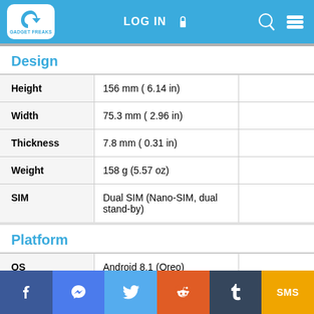GADGET FREAKS — LOG IN — Search — Menu
Design
|  |  |  |
| --- | --- | --- |
| Height | 156 mm ( 6.14 in) |  |
| Width | 75.3 mm ( 2.96 in) |  |
| Thickness | 7.8 mm ( 0.31 in) |  |
| Weight | 158 g (5.57 oz) |  |
| SIM | Dual SIM (Nano-SIM, dual stand-by) |  |
Platform
|  |  |  |
| --- | --- | --- |
| OS | Android 8.1 (Oreo) |  |
f | Messenger | Twitter | Reddit | Tumblr | SMS